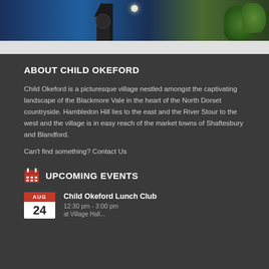[Figure (photo): Photo of a church tower or clock tower with a full moon visible above it, blue sky and green trees visible, dark architectural structure]
ABOUT CHILD OKEFORD
Child Okeford is a picturesque village nestled amongst the captivating landscape of the Blackmore Vale in the heart of the North Dorset countryside. Hambledon Hill lies to the east and the River Stour to the west and the village is in easy reach of the market towns of Shaftesbury and Blandford.
Can't find something? Contact Us
UPCOMING EVENTS
Child Okeford Lunch Club
12:30 pm - 3:00 pm